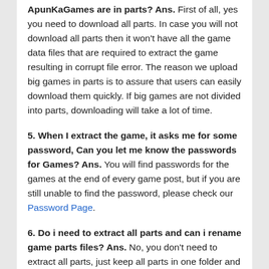ApunKaGames are in parts? Ans. First of all, yes you need to download all parts. In case you will not download all parts then it won't have all the game data files that are required to extract the game resulting in corrupt file error. The reason we upload big games in parts is to assure that users can easily download them quickly. If big games are not divided into parts, downloading will take a lot of time.
5. When I extract the game, it asks me for some password, Can you let me know the passwords for Games? Ans. You will find passwords for the games at the end of every game post, but if you are still unable to find the password, please check our Password Page.
6. Do i need to extract all parts and can i rename game parts files? Ans. No, you don't need to extract all parts, just keep all parts in one folder and extract part 1, so all parts can be extracted automatically. On the other hand, you should not rename parts files of the game, because if any part